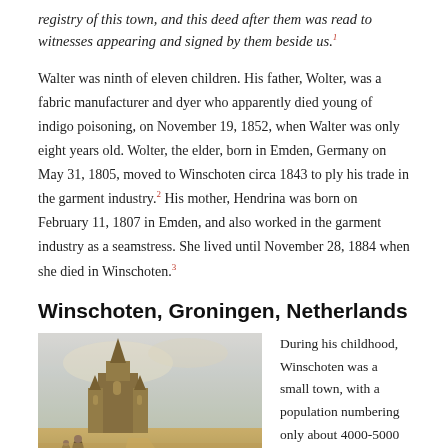registry of this town, and this deed after them was read to witnesses appearing and signed by them beside us.¹
Walter was ninth of eleven children. His father, Wolter, was a fabric manufacturer and dyer who apparently died young of indigo poisoning, on November 19, 1852, when Walter was only eight years old. Wolter, the elder, born in Emden, Germany on May 31, 1805, moved to Winschoten circa 1843 to ply his trade in the garment industry.² His mother, Hendrina was born on February 11, 1807 in Emden, and also worked in the garment industry as a seamstress. She lived until November 28, 1884 when she died in Winschoten.³
Winschoten, Groningen, Netherlands
[Figure (photo): Historical painting or illustration of a Gothic church or cathedral in Winschoten with figures in the foreground, warm golden tones]
During his childhood, Winschoten was a small town, with a population numbering only about 4000-5000 people. By